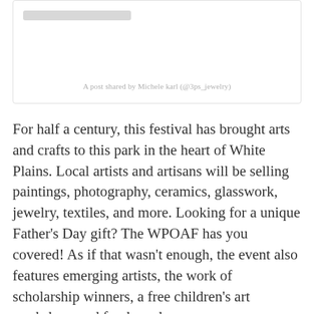[Figure (screenshot): Embedded social media post placeholder with a gray bar at top and caption 'A post shared by Michele karl (@3ps_jewelry)']
A post shared by Michele karl (@3ps_jewelry)
For half a century, this festival has brought arts and crafts to this park in the heart of White Plains. Local artists and artisans will be selling paintings, photography, ceramics, glasswork, jewelry, textiles, and more. Looking for a unique Father's Day gift? The WPOAF has you covered! As if that wasn't enough, the event also features emerging artists, the work of scholarship winners, a free children's art workshop, and food vendors.